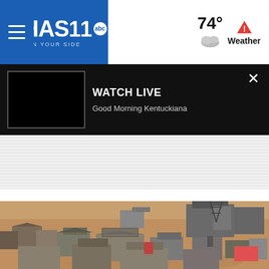WHAS11 abc - ON YOUR SIDE | 74° Weather
WATCH LIVE - Good Morning Kentuckiana
[Figure (photo): Aerial view of an old western movie set / ranch with dusty terrain and multiple wooden buildings]